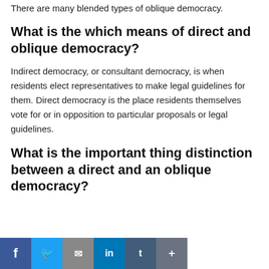There are many blended types of oblique democracy.
What is the which means of direct and oblique democracy?
Indirect democracy, or consultant democracy, is when residents elect representatives to make legal guidelines for them. Direct democracy is the place residents themselves vote for or in opposition to particular proposals or legal guidelines.
What is the important thing distinction between a direct and an oblique democracy?